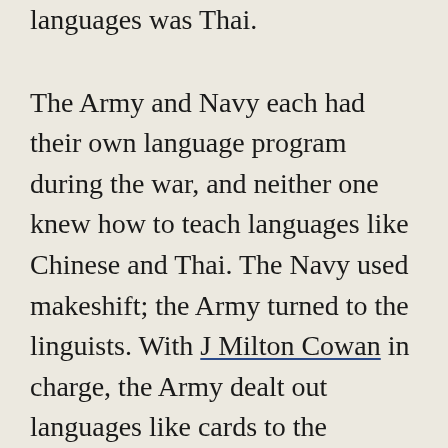languages was Thai.
The Army and Navy each had their own language program during the war, and neither one knew how to teach languages like Chinese and Thai. The Navy used makeshift; the Army turned to the linguists. With J Milton Cowan in charge, the Army dealt out languages like cards to the available linguists. “Here’s a language and a native speaker: analyze the language, write a textbook, and teach it. Charles Hockett, take Chinese; Bernard Bloch, take Japanese; Mary Haas, take Thai.” And so on. It came to be called the ‘Army Method,’ and each book was called ‘Spoken Whatever’. After the war,